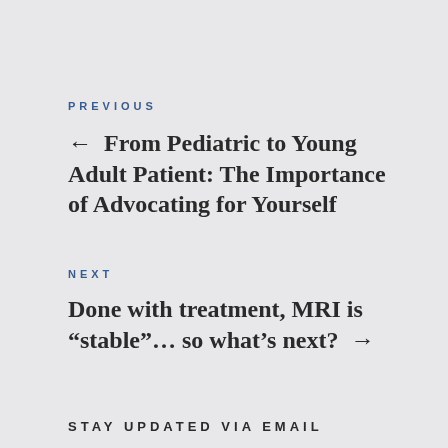PREVIOUS
← From Pediatric to Young Adult Patient: The Importance of Advocating for Yourself
NEXT
Done with treatment, MRI is “stable”… so what’s next? →
STAY UPDATED VIA EMAIL